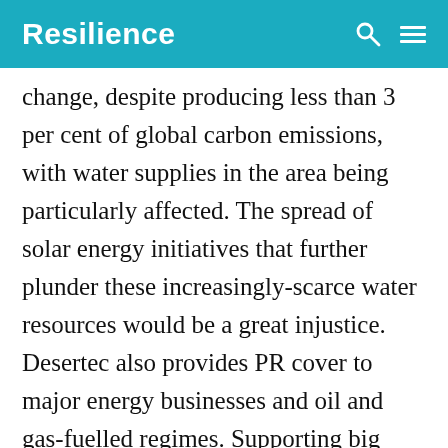Resilience
change, despite producing less than 3 per cent of global carbon emissions, with water supplies in the area being particularly affected. The spread of solar energy initiatives that further plunder these increasingly-scarce water resources would be a great injustice. Desertec also provides PR cover to major energy businesses and oil and gas-fuelled regimes. Supporting big ‘clean energy’ projects lets them present themselves as environmental protectors